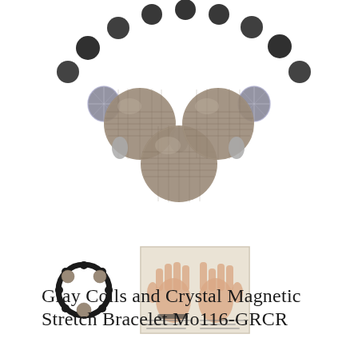[Figure (photo): Close-up photo of a bracelet with large gray mesh coil beads alternating with faceted silver/hematite crystal beads and smaller dark round beads, arranged in a circle on a white background.]
[Figure (photo): Small thumbnail image of the same bracelet shown as a complete circle, viewed from above on a white background.]
[Figure (photo): Small thumbnail image showing two hands with a bracelet worn on the wrist, appearing to be a care or sizing guide card with text.]
Gray Coils and Crystal Magnetic Stretch Bracelet Mo116-GRCR